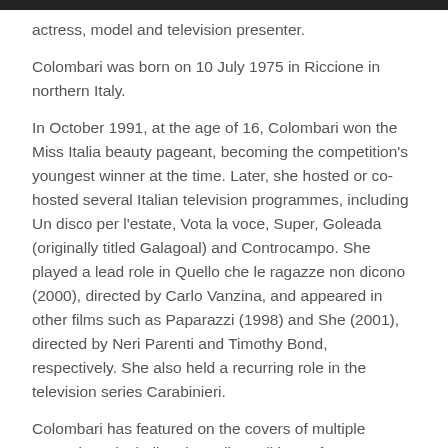actress, model and television presenter.
Colombari was born on 10 July 1975 in Riccione in northern Italy.
In October 1991, at the age of 16, Colombari won the Miss Italia beauty pageant, becoming the competition's youngest winner at the time. Later, she hosted or co-hosted several Italian television programmes, including Un disco per l'estate, Vota la voce, Super, Goleada (originally titled Galagoal) and Controcampo. She played a lead role in Quello che le ragazze non dicono (2000), directed by Carlo Vanzina, and appeared in other films such as Paparazzi (1998) and She (2001), directed by Neri Parenti and Timothy Bond, respectively. She also held a recurring role in the television series Carabinieri.
Colombari has featured on the covers of multiple magazines, including the Italian editions of Cosmopolitan (May 1997) and GQ (December 2000), the Italian men's magazine Max (July 1999, April 2003, and October 2008), and others such as Diva (2007), Intimità (2007), and Confidenze (2008).
In 2011, Colombari published an autobiography titled La vita è una.
In 2004, Colombari married long-time A.C. Milan player Alessandro